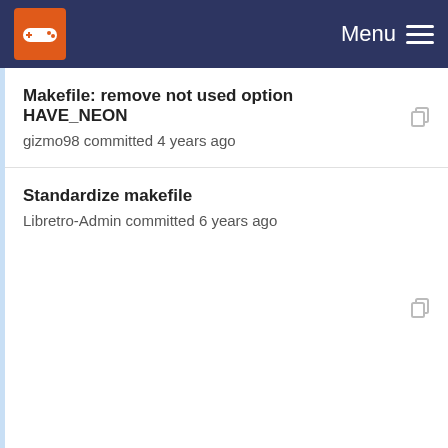Menu
Makefile: remove not used option HAVE_NEON
gizmo98 committed 4 years ago
Standardize makefile
Libretro-Admin committed 6 years ago
Tweak Makefile for odroid boards
MastaG committed 3 years ago
Update Makefile for odroid
root committed 3 years ago